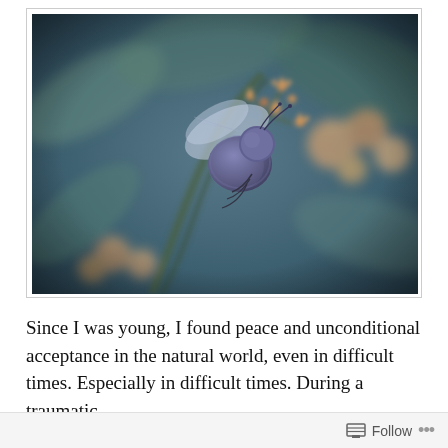[Figure (photo): Close-up macro photograph of a large fuzzy bumblebee or carpenter bee with iridescent wings visiting small orange/peach cluster flowers (possibly sedum or similar), against a blurred blue-green background of leaves.]
Since I was young, I found peace and unconditional acceptance in the natural world, even in difficult times. Especially in difficult times. During a traumatic
Follow